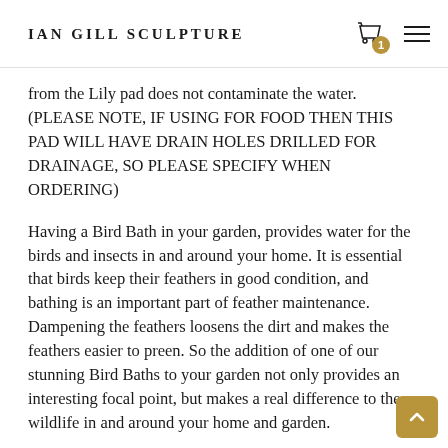Ian Gill Sculpture
from the Lily pad does not contaminate the water. (PLEASE NOTE, IF USING FOR FOOD THEN THIS PAD WILL HAVE DRAIN HOLES DRILLED FOR DRAINAGE, SO PLEASE SPECIFY WHEN ORDERING)
Having a Bird Bath in your garden, provides water for the birds and insects in and around your home. It is essential that birds keep their feathers in good condition, and bathing is an important part of feather maintenance. Dampening the feathers loosens the dirt and makes the feathers easier to preen. So the addition of one of our stunning Bird Baths to your garden not only provides an interesting focal point, but makes a real difference to the wildlife in and around your home and garden.